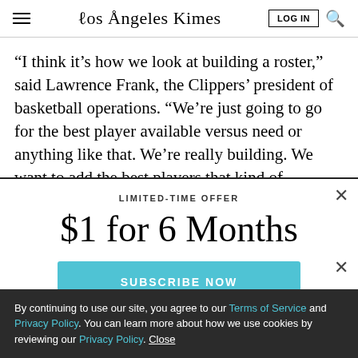Los Angeles Times
“I think it’s how we look at building a roster,” said Lawrence Frank, the Clippers’ president of basketball operations. “We’re just going to go for the best player available versus need or anything like that. We’re really building. We want to add the best players that kind of
LIMITED-TIME OFFER
$1 for 6 Months
SUBSCRIBE NOW
By continuing to use our site, you agree to our Terms of Service and Privacy Policy. You can learn more about how we use cookies by reviewing our Privacy Policy. Close